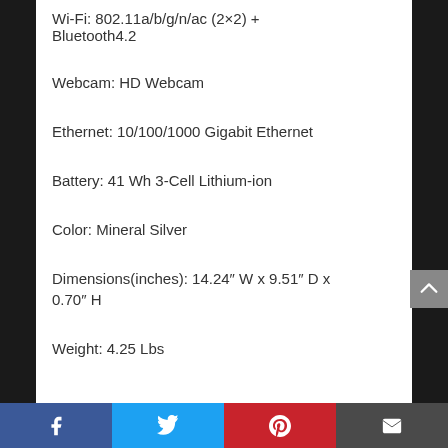Wi-Fi: 802.11a/b/g/n/ac (2×2) + Bluetooth4.2
Webcam: HD Webcam
Ethernet: 10/100/1000 Gigabit Ethernet
Battery: 41 Wh 3-Cell Lithium-ion
Color: Mineral Silver
Dimensions(inches): 14.24″ W x 9.51″ D x 0.70″ H
Weight: 4.25 Lbs